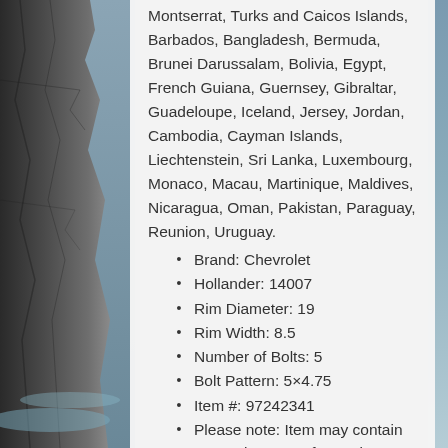[Figure (photo): Background photo of rocky coastal cliff on the left and ocean waves on the right]
Montserrat, Turks and Caicos Islands, Barbados, Bangladesh, Bermuda, Brunei Darussalam, Bolivia, Egypt, French Guiana, Guernsey, Gibraltar, Guadeloupe, Iceland, Jersey, Jordan, Cambodia, Cayman Islands, Liechtenstein, Sri Lanka, Luxembourg, Monaco, Macau, Martinique, Maldives, Nicaragua, Oman, Pakistan, Paraguay, Reunion, Uruguay.
Brand: Chevrolet
Hollander: 14007
Rim Diameter: 19
Rim Width: 8.5
Number of Bolts: 5
Bolt Pattern: 5×4.75
Item #: 97242341
Please note: Item may contain cosmetic wear refer to pictures
Disclaimer: We're not responsible for damages cause by item